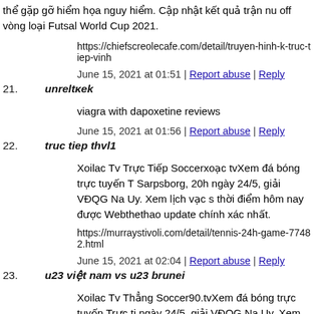thể gặp gỡ hiểm họa nguy hiểm. Cập nhật kết quả trận nước off vòng loại Futsal World Cup 2021.
https://chiefscreolecafe.com/detail/truyen-hinh-k-truc-tiep-vinh
June 15, 2021 at 01:51 | Report abuse | Reply
21. unreltκek
viagra with dapoxetine reviews
June 15, 2021 at 01:56 | Report abuse | Reply
22. truc tiep thvl1
Xoilac Tv Trực Tiếp Soccerxoạc tvXem đá bóng trực tuyến T Sarpsborg, 20h ngày 24/5, giải VĐQG Na Uy. Xem lịch vạc s thời điểm hôm nay được Webthethao update chính xác nhất.
https://murraystivoli.com/detail/tennis-24h-game-77482.html
June 15, 2021 at 02:04 | Report abuse | Reply
23. u23 việt nam vs u23 brunei
Xoilac Tv Thẳng Soccer90.tvXem đá bóng trực tuyến Trực ti ngày 24/5, giải VĐQG Na Uy. Xem lịch vạc sóng thẳng đá bó được Webthethao cập nhật chính xác nhất.